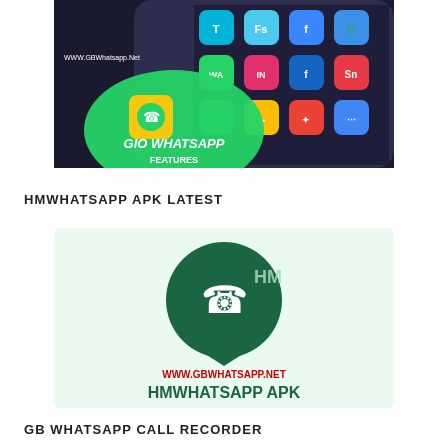[Figure (photo): GIO WhatsApp Features promotional image showing a smartphone with app icons and a green circular WhatsApp logo overlay with text 'GIO WHATSAPP FEATURES' and watermark 'WWW.GBWhatsapp.Net']
HMWHATSAPP APK LATEST
[Figure (illustration): HMWhatsApp APK promotional graphic on light green background showing a dark green WhatsApp-style speech bubble with phone icon and 'HM' letters, URL 'WWW.GBWHATSAPP.NET' in red, and 'HMWHATSAPP APK' in dark green bold text]
GB WHATSAPP CALL RECORDER